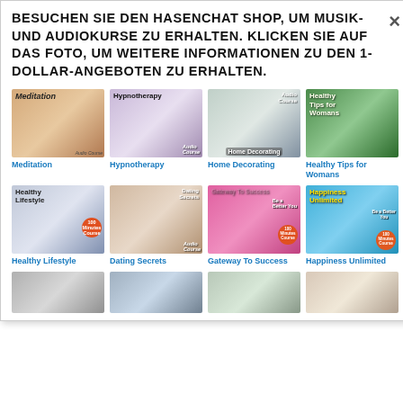BESUCHEN SIE DEN HASENCHAT SHOP, UM MUSIK- UND AUDIOKURSE ZU ERHALTEN. KLICKEN SIE AUF DAS FOTO, UM WEITERE INFORMATIONEN ZU DEN 1-DOLLAR-ANGEBOTEN ZU ERHALTEN.
[Figure (illustration): Grid of audio course product thumbnails - Row 1: Meditation, Hypnotherapy, Home Decorating, Healthy Tips for Womans]
Meditation
Hypnotherapy
Home Decorating
Healthy Tips for Womans
[Figure (illustration): Grid of audio course product thumbnails - Row 2: Healthy Lifestyle, Dating Secrets, Gateway To Success, Happiness Unlimited]
Healthy Lifestyle
Dating Secrets
Gateway To Success
Happiness Unlimited
[Figure (illustration): Partial row of more audio course thumbnails at bottom of page]